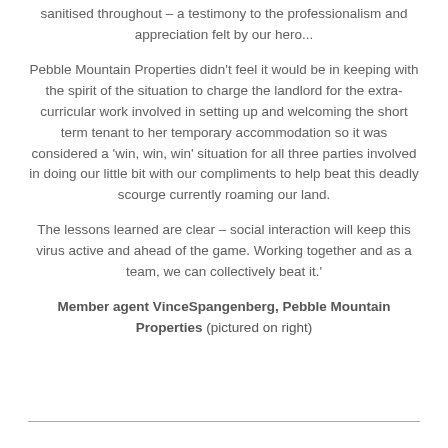sanitised throughout – a testimony to the professionalism and appreciation felt by our hero...
Pebble Mountain Properties didn't feel it would be in keeping with the spirit of the situation to charge the landlord for the extra-curricular work involved in setting up and welcoming the short term tenant to her temporary accommodation so it was considered a 'win, win, win' situation for all three parties involved in doing our little bit with our compliments to help beat this deadly scourge currently roaming our land.
The lessons learned are clear – social interaction will keep this virus active and ahead of the game. Working together and as a team, we can collectively beat it.'
Member agent VinceSpangenberg, Pebble Mountain Properties (pictured on right)